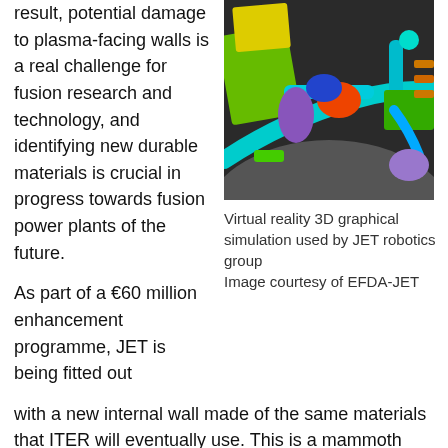result, potential damage to plasma-facing walls is a real challenge for fusion research and technology, and identifying new durable materials is crucial in progress towards fusion power plants of the future.
[Figure (illustration): Virtual reality 3D graphical simulation of JET robotics showing colorful mechanical components inside the tokamak]
Virtual reality 3D graphical simulation used by JET robotics group
Image courtesy of EFDA-JET
As part of a €60 million enhancement programme, JET is being fitted out with a new internal wall made of the same materials that ITER will eventually use. This is a mammoth undertaking. During all of 2010, more than 4500 carbon fibre composite components that line the inner wall of the machine will be replaced by beryllium- and tungsten-coated components.